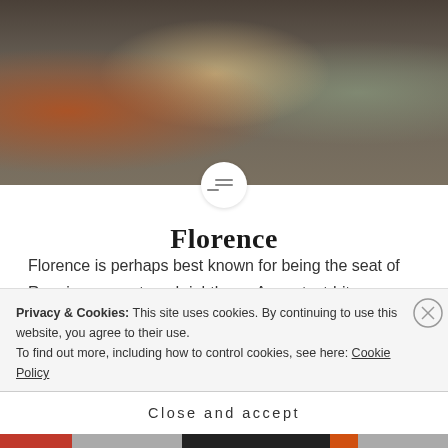[Figure (photo): Restaurant/café scene with wine glasses in foreground and diners in background, with ornate building facade visible]
Florence
Florence is perhaps best known for being the seat of Renaissance art, and rightly so: A greatest-hits collection of artists passed through its streets – Michelangelo, Leonardo, Botticelli, and Brunelleschi among them. Hanya Yanagihara Florence, capital of Italy's Tuscany region, is home to many
Privacy & Cookies: This site uses cookies. By continuing to use this website, you agree to their use.
To find out more, including how to control cookies, see here: Cookie Policy
Close and accept